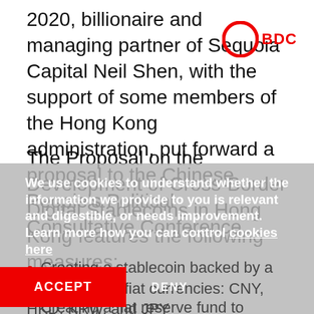2020, billionaire and managing partner of Sequoia Capital Neil Shen, with the support of some members of the Hong Kong administration, put forward a proposal to the Chinese People's Political Consultative Conference.
The Proposal on the Development of Cross-Border Digital Stablecoins in Hong Kong features the following measures:
Creating a stablecoin backed by a basket of four fiat currencies: CNY, HKD, KRW, and JPY
Creating a fiat reserve fund to ensure secure
...the custodial wallets holding the new stablecoin
We use cookies to understand whether the information we provide to you is relevant and digestible, or needs improvement. Learn more how you can control cookies here